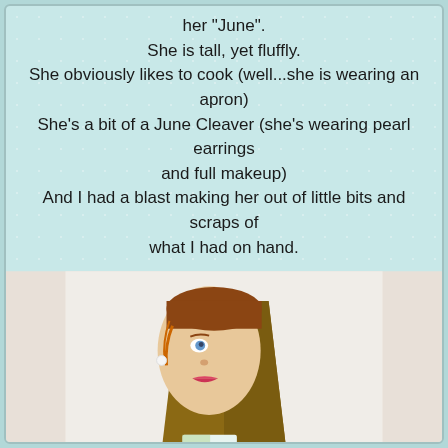her "June".
She is tall, yet fluffly.
She obviously likes to cook (well...she is wearing an apron)
She's a bit of a June Cleaver (she's wearing pearl earrings and full makeup)
And I had a blast making her out of little bits and scraps of what I had on hand.
[Figure (photo): A handmade fabric doll with a painted face, brown hair/hat, wearing a yellow floral dress with a white apron and lace trim, with a satin bow at the back.]